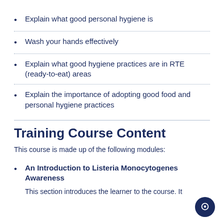Explain what good personal hygiene is
Wash your hands effectively
Explain what good hygiene practices are in RTE (ready-to-eat) areas
Explain the importance of adopting good food and personal hygiene practices
Training Course Content
This course is made up of the following modules:
An Introduction to Listeria Monocytogenes Awareness
This section introduces the learner to the course. It